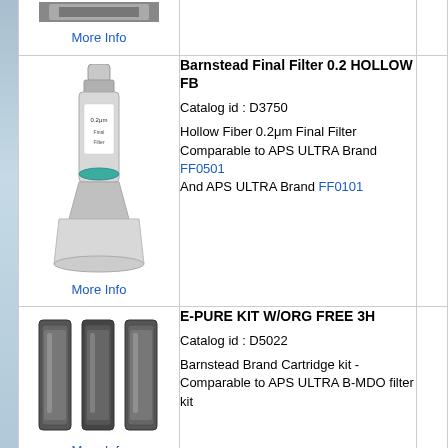More Info
[Figure (photo): Barnstead Final Filter 0.2 HOLLOW FB product photo - hollow fiber filter with funnel base]
More Info
Barnstead Final Filter 0.2 HOLLOW FB
Catalog id : D3750
Hollow Fiber 0.2μm Final Filter Comparable to APS ULTRA Brand FF0501 And APS ULTRA Brand FF0101
[Figure (photo): E-PURE KIT W/ORG FREE 3H product photo - three cartridge filters side by side]
More Info
E-PURE KIT W/ORG FREE 3H
Catalog id : D5022
Barnstead Brand Cartridge kit - Comparable to APS ULTRA B-MDO filter kit
[Figure (photo): EXPENDABLE KIT 4-HLDR product photo - four cartridge filters]
EXPENDABLE KIT 4-HLDR
Catalog id: D5MO